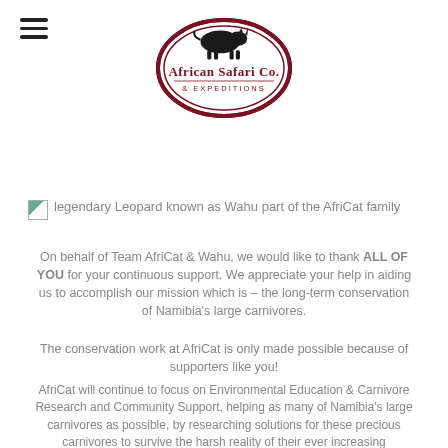[Figure (logo): African Safari Co. & Expeditions logo — oval dark red border with a rhinoceros silhouette on top and the company name inside]
legendary Leopard known as Wahu part of the AfriCat family
On behalf of Team AfriCat & Wahu, we would like to thank ALL OF YOU for your continuous support. We appreciate your help in aiding us to accomplish our mission which is – the long-term conservation of Namibia's large carnivores.
The conservation work at AfriCat is only made possible because of supporters like you!
AfriCat will continue to focus on Environmental Education & Carnivore Research and Community Support, helping as many of Namibia's large carnivores as possible, by researching solutions for these precious carnivores to survive the harsh reality of their ever increasing challenges, mainly due to human encroachment on their natural habitat.